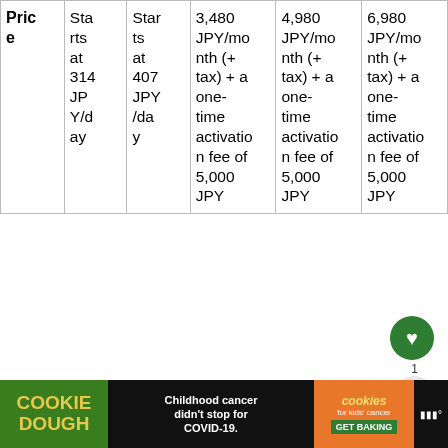| Price | Starts at 314 JPY/day | Starts at 407 JPY/day | 3,480 JPY/month (+ tax) + a one-time activation fee of 5,000 JPY | 4,980 JPY/month (+ tax) + a one-time activation fee of 5,000 JPY | 6,980 JPY/month (+ tax) + a one-time activation fee of 5,000 JPY |
| --- | --- | --- | --- | --- | --- |
All rentals must be made at least 3 days in advance. If you need the device faster you can request express shipping for a fee.